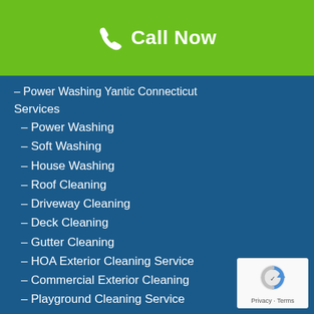[Figure (other): Green call-now banner with phone icon and 'Call Now' text]
– Power Washing Yantic Connecticut
Services
– Power Washing
– Soft Washing
– House Washing
– Roof Cleaning
– Driveway Cleaning
– Deck Cleaning
– Gutter Cleaning
– HOA Exterior Cleaning Service
– Commercial Exterior Cleaning
– Playground Cleaning Service
– Sanitization Service